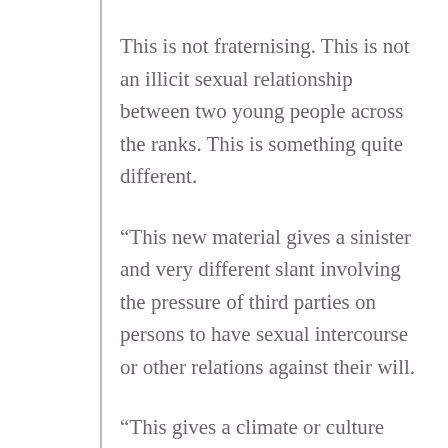This is not fraternising. This is not an illicit sexual relationship between two young people across the ranks. This is something quite different.
“This new material gives a sinister and very different slant involving the pressure of third parties on persons to have sexual intercourse or other relations against their will.
“This gives a climate or culture that can promote desperation and desperate emotions and matters highly relevant to her state of mind, and the culture in which